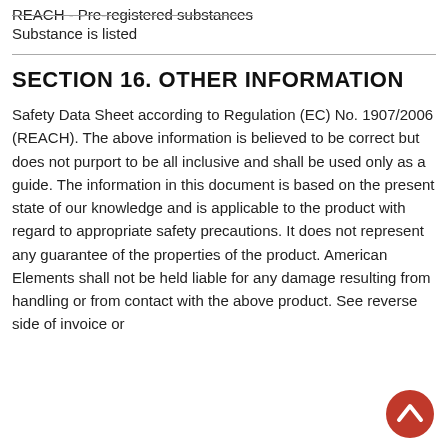REACH - Pre-registered substances
Substance is listed
SECTION 16. OTHER INFORMATION
Safety Data Sheet according to Regulation (EC) No. 1907/2006 (REACH). The above information is believed to be correct but does not purport to be all inclusive and shall be used only as a guide. The information in this document is based on the present state of our knowledge and is applicable to the product with regard to appropriate safety precautions. It does not represent any guarantee of the properties of the product. American Elements shall not be held liable for any damage resulting from handling or from contact with the above product. See reverse side of invoice or